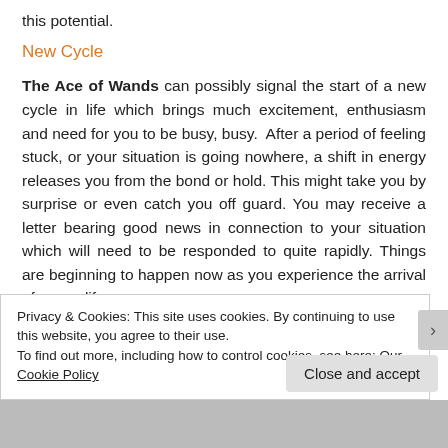this potential.
New Cycle
The Ace of Wands can possibly signal the start of a new cycle in life which brings much excitement, enthusiasm and need for you to be busy, busy. After a period of feeling stuck, or your situation is going nowhere, a shift in energy releases you from the bond or hold. This might take you by surprise or even catch you off guard. You may receive a letter bearing good news in connection to your situation which will need to be responded to quite rapidly. Things are beginning to happen now as you experience the arrival of a new life
Privacy & Cookies: This site uses cookies. By continuing to use this website, you agree to their use.
To find out more, including how to control cookies, see here: Our Cookie Policy
Close and accept